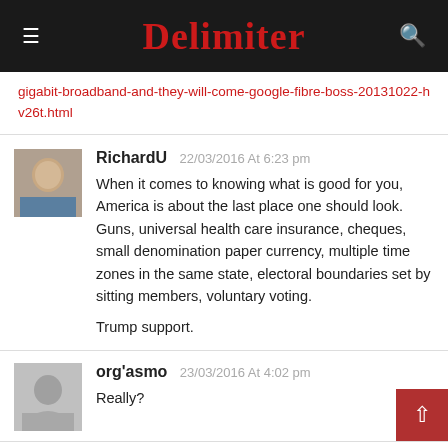Delimiter
gigabit-broadband-and-they-will-come-google-fibre-boss-20131022-hv26t.html
RichardU 22/03/2016 At 6:23 pm
When it comes to knowing what is good for you, America is about the last place one should look. Guns, universal health care insurance, cheques, small denomination paper currency, multiple time zones in the same state, electoral boundaries set by sitting members, voluntary voting.

Trump support.
org'asmo 23/03/2016 At 4:02 pm
Really?